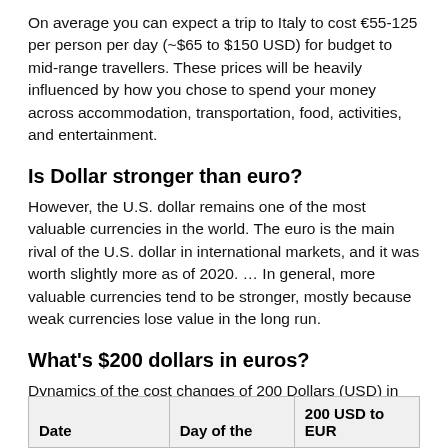On average you can expect a trip to Italy to cost €55-125 per person per day (~$65 to $150 USD) for budget to mid-range travellers. These prices will be heavily influenced by how you chose to spend your money across accommodation, transportation, food, activities, and entertainment.
Is Dollar stronger than euro?
However, the U.S. dollar remains one of the most valuable currencies in the world. The euro is the main rival of the U.S. dollar in international markets, and it was worth slightly more as of 2020. … In general, more valuable currencies tend to be stronger, mostly because weak currencies lose value in the long run.
What's $200 dollars in euros?
Dynamics of the cost changes of 200 Dollars (USD) in Euros (EUR)
| Date | Day of the | 200 USD to EUR |
| --- | --- | --- |